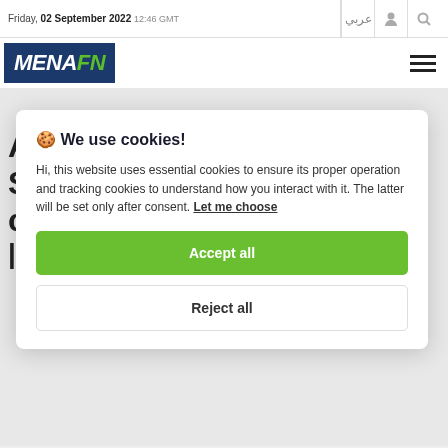Friday, 02 September 2022 12:46 GMT
[Figure (logo): MENAFN logo — white text MENA and green text FN on dark blue background]
🍪 We use cookies!
Hi, this website uses essential cookies to ensure its proper operation and tracking cookies to understand how you interact with it. The latter will be set only after consent. Let me choose
Accept all
Reject all